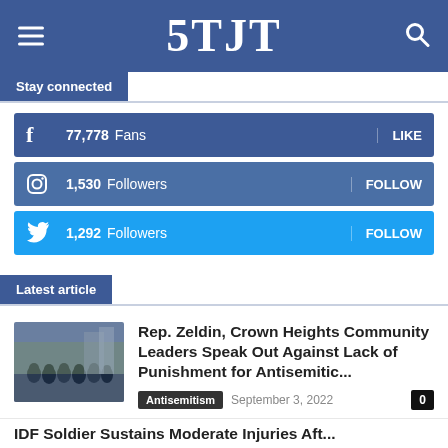5TJT
Stay connected
77,778  Fans  LIKE
1,530  Followers  FOLLOW
1,292  Followers  FOLLOW
Latest article
[Figure (photo): Group of people standing outdoors]
Rep. Zeldin, Crown Heights Community Leaders Speak Out Against Lack of Punishment for Antisemitic...
Antisemitism   September 3, 2022   0
IDF Soldier Sustains Moderate Injuries Aft...